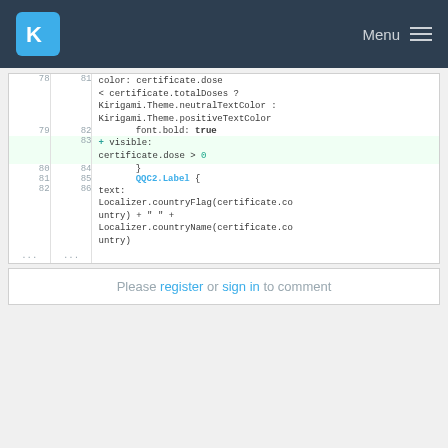KDE Menu
[Figure (screenshot): Code diff view showing QML code with line numbers. Lines 78-82 show color and font properties for a certificate label, line 83 is an added line (highlighted green) with 'visible: certificate.dose > 0', lines 80-86 show closing brace and QQC2.Label block with text property containing Localizer.countryFlag and Localizer.countryName calls.]
Please register or sign in to comment